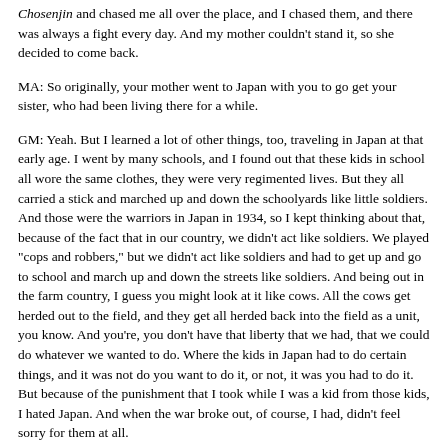Chosenjin and chased me all over the place, and I chased them, and there was always a fight every day. And my mother couldn't stand it, so she decided to come back.
MA: So originally, your mother went to Japan with you to go get your sister, who had been living there for a while.
GM: Yeah. But I learned a lot of other things, too, traveling in Japan at that early age. I went by many schools, and I found out that these kids in school all wore the same clothes, they were very regimented lives. But they all carried a stick and marched up and down the schoolyards like little soldiers. And those were the warriors in Japan in 1934, so I kept thinking about that, because of the fact that in our country, we didn't act like soldiers. We played "cops and robbers," but we didn't act like soldiers and had to get up and go to school and march up and down the streets like soldiers. And being out in the farm country, I guess you might look at it like cows. All the cows get herded out to the field, and they get all herded back into the field as a unit, you know. And you're, you don't have that liberty that we had, that we could do whatever we wanted to do. Where the kids in Japan had to do certain things, and it was not do you want to do it, or not, it was you had to do it. But because of the punishment that I took while I was a kid from those kids, I hated Japan. And when the war broke out, of course, I had, didn't feel sorry for them at all.